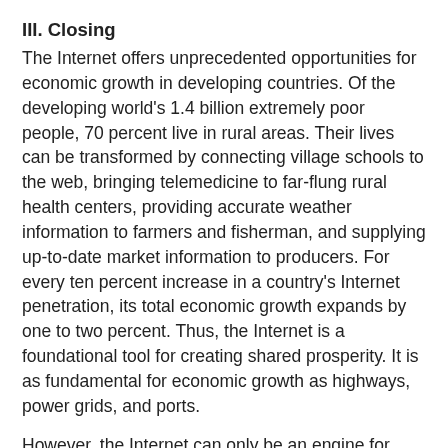III. Closing
The Internet offers unprecedented opportunities for economic growth in developing countries. Of the developing world's 1.4 billion extremely poor people, 70 percent live in rural areas. Their lives can be transformed by connecting village schools to the web, bringing telemedicine to far-flung rural health centers, providing accurate weather information to farmers and fisherman, and supplying up-to-date market information to producers. For every ten percent increase in a country's Internet penetration, its total economic growth expands by one to two percent. Thus, the Internet is a foundational tool for creating shared prosperity. It is as fundamental for economic growth as highways, power grids, and ports.
However, the Internet can only be an engine for inclusive growth if it is available, accessible, and affordable for everyone. To successfully connect the rest of the world, we will need multi-stakeholder engagement and cooperation. Over these next few months, I look forward to working together with you towards our shared goal.